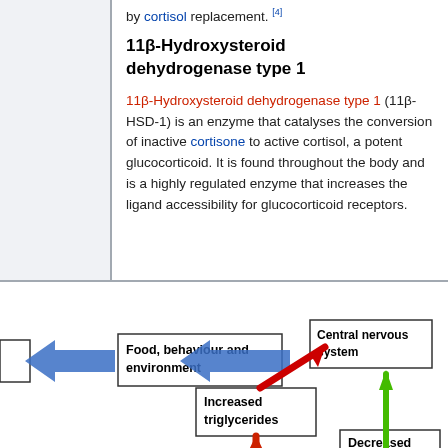by cortisol replacement. [4]
11β-Hydroxysteroid dehydrogenase type 1
11β-Hydroxysteroid dehydrogenase type 1 (11β-HSD-1) is an enzyme that catalyses the conversion of inactive cortisone to active cortisol, a potent glucocorticoid. It is found throughout the body and is a highly regulated enzyme that increases the ligand accessibility for glucocorticoid receptors.
[Figure (flowchart): Partial diagram showing boxes labeled 'Food, behaviour and environment', 'Central nervous system', 'Increased triglycerides', 'Decreased' (cut off), with colored arrows connecting them: blue arrows pointing left, red arrows pointing diagonally up-left, and a green arrow pointing up.]